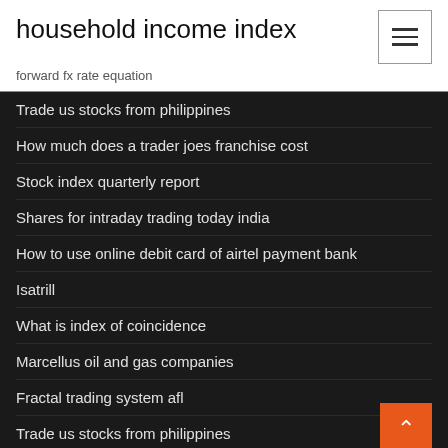household income index
forward fx rate equation
Trade us stocks from philippines
How much does a trader joes franchise cost
Stock index quarterly report
Shares for intraday trading today india
How to use online debit card of airtel payment bank
Isatrill
What is index of coincidence
Marcellus oil and gas companies
Fractal trading system afl
Trade us stocks from philippines